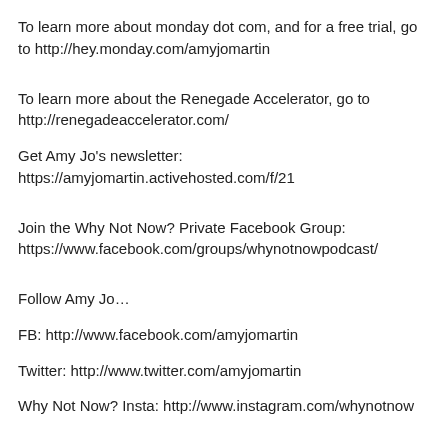To learn more about monday dot com, and for a free trial, go to http://hey.monday.com/amyjomartin
To learn more about the Renegade Accelerator, go to http://renegadeaccelerator.com/
Get Amy Jo's newsletter: https://amyjomartin.activehosted.com/f/21
Join the Why Not Now? Private Facebook Group: https://www.facebook.com/groups/whynotnowpodcast/
Follow Amy Jo…
FB: http://www.facebook.com/amyjomartin
Twitter: http://www.twitter.com/amyjomartin
Why Not Now? Insta: http://www.instagram.com/whynotnow
Buy Amy Jo's Book: